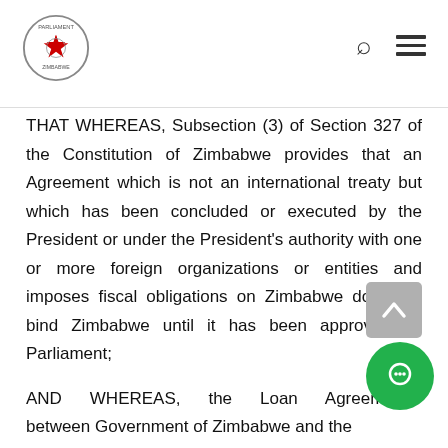Parliament of Zimbabwe header with logo, search icon, and menu icon
THAT WHEREAS, Subsection (3) of Section 327 of the Constitution of Zimbabwe provides that an Agreement which is not an international treaty but which has been concluded or executed by the President or under the President's authority with one or more foreign organizations or entities and imposes fiscal obligations on Zimbabwe does not bind Zimbabwe until it has been approved by Parliament;
AND WHEREAS, the Loan Agreement between Government of Zimbabwe and the
Export - Import Bank of India relating to Hwange its Thermal Power Station Life
Extension Project being implemented by Zimbabwe...